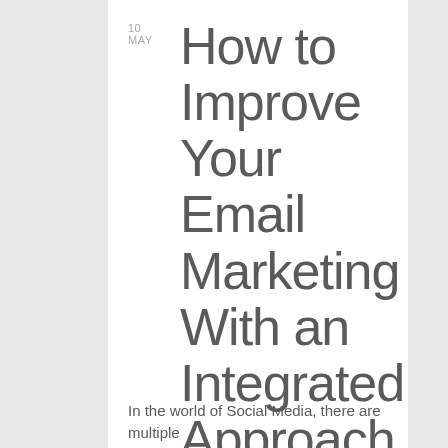10
MAY
How to Improve Your Email Marketing With an Integrated Approach
In the world of Social Media, there are multiple